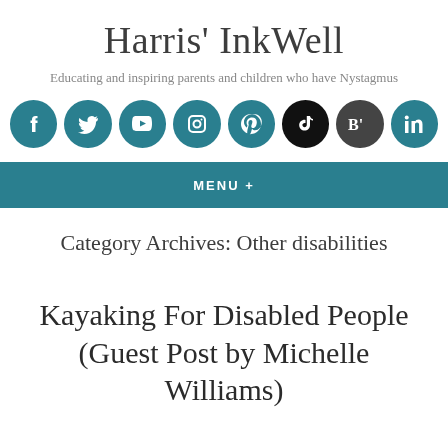Harris' InkWell
Educating and inspiring parents and children who have Nystagmus
[Figure (illustration): Row of 8 social media icons (Facebook, Twitter, YouTube, Instagram, Pinterest, TikTok, Bloglovin, LinkedIn) as circular icons in teal, black, and dark grey]
MENU +
Category Archives: Other disabilities
Kayaking For Disabled People (Guest Post by Michelle Williams)